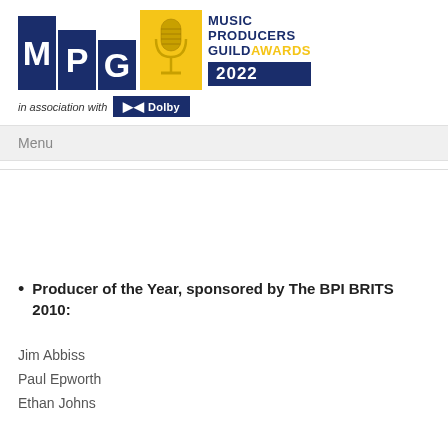[Figure (logo): Music Producers Guild Awards 2022 logo in association with Dolby]
Menu
Producer of the Year, sponsored by The BPI BRITS 2010:
Jim Abbiss
Paul Epworth
Ethan Johns